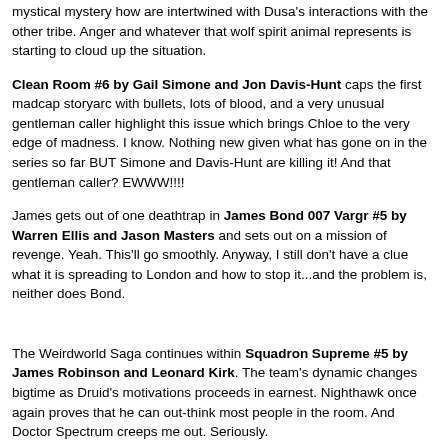mystical mystery how are intertwined with Dusa's interactions with the other tribe. Anger and whatever that wolf spirit animal represents is starting to cloud up the situation.
Clean Room #6 by Gail Simone and Jon Davis-Hunt caps the first madcap storyarc with bullets, lots of blood, and a very unusual gentleman caller highlight this issue which brings Chloe to the very edge of madness. I know. Nothing new given what has gone on in the series so far BUT Simone and Davis-Hunt are killing it! And that gentleman caller? EWWW!!!!
James gets out of one deathtrap in James Bond 007 Vargr #5 by Warren Ellis and Jason Masters and sets out on a mission of revenge. Yeah. This'll go smoothly. Anyway, I still don't have a clue what it is spreading to London and how to stop it...and the problem is, neither does Bond.
The Weirdworld Saga continues within Squadron Supreme #5 by James Robinson and Leonard Kirk. The team's dynamic changes bigtime as Druid's motivations proceeds in earnest. Nighthawk once again proves that he can out-think most people in the room. And Doctor Spectrum creeps me out. Seriously.
Answers and revelations come out in Titans Hunt #6 by Dan Abnett and Stephen Segovia as Mr. Twister uses Herald to make music. Nightwing,